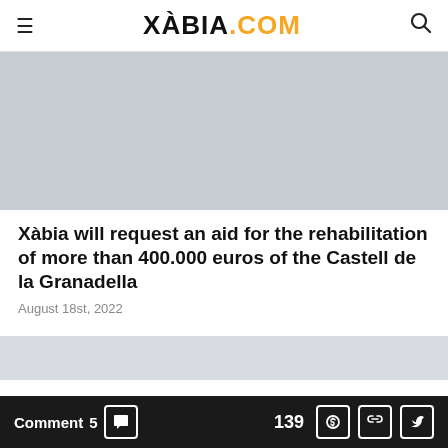XÀBIA.COM
[Figure (photo): Large image placeholder (grey rectangle) for article photo]
Xàbia will request an aid for the rehabilitation of more than 400.000 euros of the Castell de la Granadella
August 18st, 2022
[Figure (photo): Partial image placeholder (grey rectangle) at bottom of article]
Comment 5  139